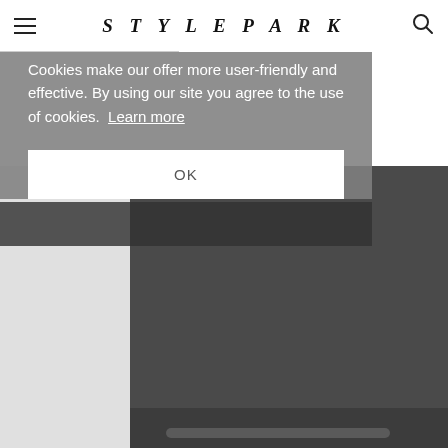STYLEPARK
Cookies make our offer more user-friendly and effective. By using our site you agree to the use of cookies. Learn more
OK
[Figure (screenshot): Website screenshot with cookie consent overlay on top of a product page. Left panel is light gray, right panel is dark gray with product imagery. Navigation bar with hamburger menu, STYLEPARK italic logo, and search icon at top.]